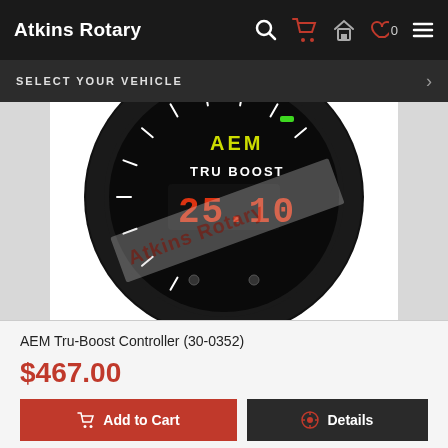Atkins Rotary
SELECT YOUR VEHICLE
[Figure (photo): AEM Tru-Boost Controller gauge face showing digital display with red numbers, white tick marks on black bezel, AEM logo in yellow/green, TRU BOOST text in white, with Atkins Rotary watermark overlaid diagonally]
AEM Tru-Boost Controller (30-0352)
$467.00
Add to Cart
Details